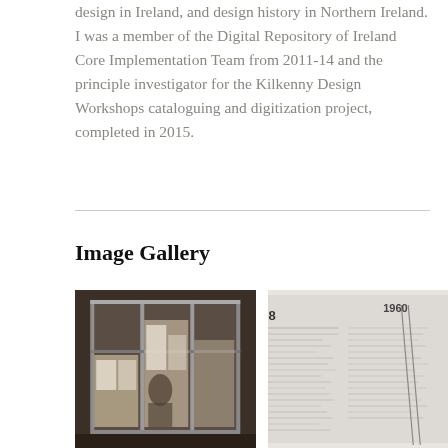design in Ireland, and design history in Northern Ireland. I was a member of the Digital Repository of Ireland Core Implementation Team from 2011-14 and the principle investigator for the Kilkenny Design Workshops cataloguing and digitization project, completed in 2015.
Image Gallery
[Figure (photo): Interior shot of a glass and metal display case or cabinet structure in a dimly lit exhibition space, with papers/documents visible inside.]
[Figure (photo): Close-up of a large printed timeline or list panel on a wall, showing text columns with dates including '68' and '1960s' visible.]